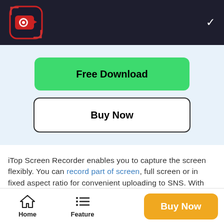[Figure (logo): iTop Screen Recorder app icon — red/white camera icon on dark background square]
Free Download
Buy Now
iTop Screen Recorder enables you to capture the screen flexibly. You can record part of screen, full screen or in fixed aspect ratio for convenient uploading to SNS. With the support of system speaker, external mic and webcam, it helps you record video with audio and yourself at the same time. What's more, it records HD/4K/60fps videos with no lagging thanks to low CPU usage. And, there is no
Home
Feature
Buy Now